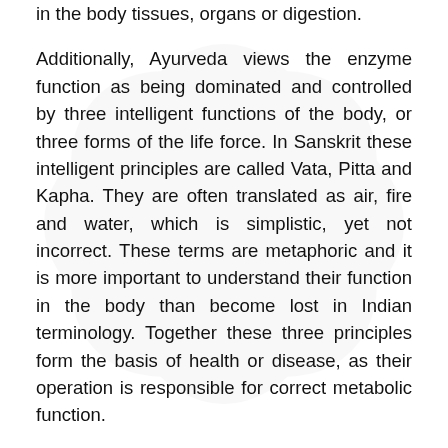in the body tissues, organs or digestion.
Additionally, Ayurveda views the enzyme function as being dominated and controlled by three intelligent functions of the body, or three forms of the life force. In Sanskrit these intelligent principles are called Vata, Pitta and Kapha. They are often translated as air, fire and water, which is simplistic, yet not incorrect. These terms are metaphoric and it is more important to understand their function in the body than become lost in Indian terminology. Together these three principles form the basis of health or disease, as their operation is responsible for correct metabolic function.
Toxins are formed in the body when diet and lifestyle cause the three intelligent principles